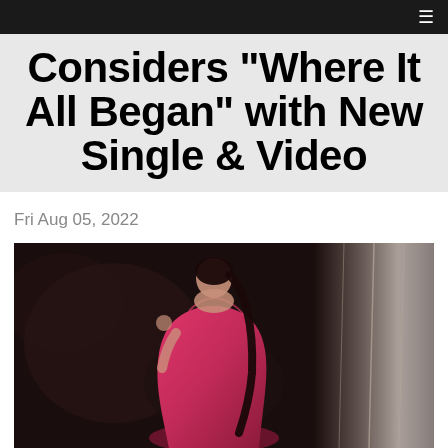≡
Considers "Where It All Began" with New Single & Video
Fri Aug 05, 2022
[Figure (photo): Young woman in a pink/magenta backless halter dress, posing with her back turned and looking over her shoulder, with long dark hair in a ponytail. Background is a dark textured wall with a light curtain on the right side.]